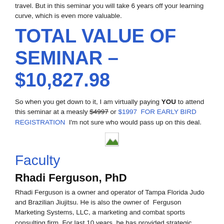travel. But in this seminar you will take 6 years off your learning curve, which is even more valuable.
TOTAL VALUE OF SEMINAR – $10,827.98
So when you get down to it, I am virtually paying YOU to attend this seminar at a measly $4997 or $1997  FOR EARLY BIRD REGISTRATION  I'm not sure who would pass up on this deal.
[Figure (photo): Broken image placeholder icon]
Faculty
Rhadi Ferguson, PhD
Rhadi Ferguson is a owner and operator of Tampa Florida Judo and Brazilian Jiujitsu. He is also the owner of  Ferguson Marketing Systems, LLC, a marketing and combat sports consulting firm. For last 10 years, he has provided strategic